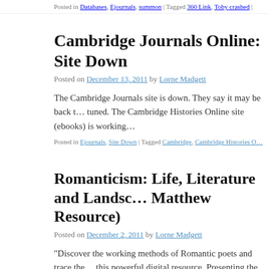Posted in Databases, Ejournals, summon | Tagged 360 Link, Toby crashed |
Cambridge Journals Online: Site Down
Posted on December 13, 2011 by Lorne Madgett
The Cambridge Journals site is down. They say it may be back t… tuned. The Cambridge Histories Online site (ebooks) is working…
Posted in Ejournals, Site Down | Tagged Cambridge, Cambridge Histories O…
Romanticism: Life, Literature and Landsc… Matthew Resource)
Posted on December 2, 2011 by Lorne Madgett
“Discover the working methods of Romantic poets and trace the… this powerful digital resource. Presenting the manuscript collect… digital collection offers students and researchers of the Romanti…
reading →